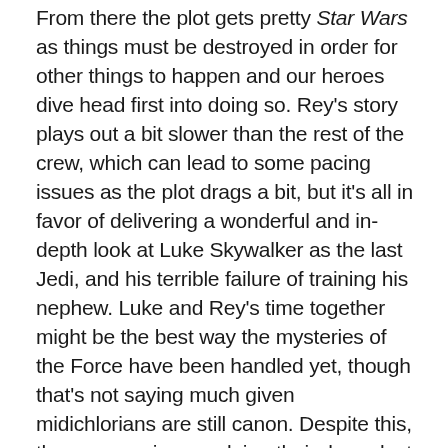From there the plot gets pretty Star Wars as things must be destroyed in order for other things to happen and our heroes dive head first into doing so. Rey's story plays out a bit slower than the rest of the crew, which can lead to some pacing issues as the plot drags a bit, but it's all in favor of delivering a wonderful and in-depth look at Luke Skywalker as the last Jedi, and his terrible failure of training his nephew. Luke and Rey's time together might be the best way the mysteries of the Force have been handled yet, though that's not saying much given midichlorians are still canon. Despite this, the new movies are doing their damndest to never mention them again. Thankfully, this leads to a treatment of the Force that is far more in line with what everyone but George Lucas thought of it as.